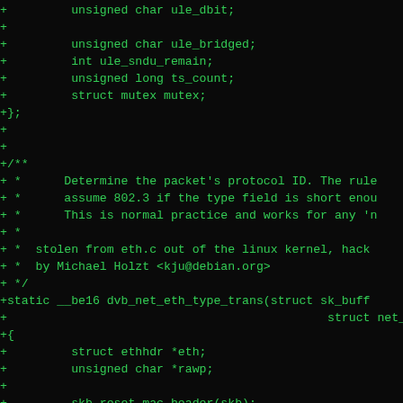[Figure (screenshot): Source code diff showing C code for a DVB network driver. Green monospace text on black background. Shows struct fields, a comment block describing eth_type_trans function stolen from eth.c, and function body with ethernet header manipulation and packet type detection.]